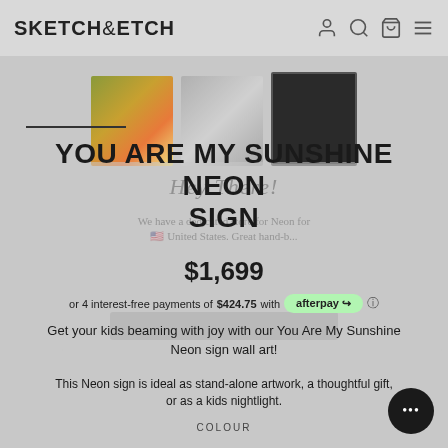SKETCH&ETCH
[Figure (screenshot): Product thumbnail images showing decorative pillows and a dark neon sign, with an underline below the first thumbnail]
YOU ARE MY SUNSHINE NEON SIGN
$1,699
or 4 interest-free payments of $424.75 with afterpay
Get your kids beaming with joy with our You Are My Sunshine Neon sign wall art!
This Neon sign is ideal as stand-alone artwork, a thoughtful gift, or as a kids nightlight.
COLOUR